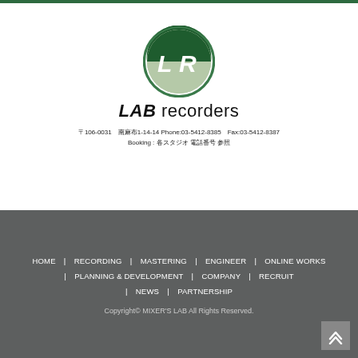[Figure (logo): LAB Recorders circular logo with LR monogram in dark green and light green]
LAB recorders
〒106-0031　南麻布1-14-14 Phone:03-5412-8385　Fax:03-5412-8387　Booking : 各スタジオ 電話番号 参照
HOME | RECORDING | MASTERING | ENGINEER | ONLINE WORKS | PLANNING & DEVELOPMENT | COMPANY | RECRUIT | NEWS | PARTNERSHIP
Copyright© MIXER'S LAB All Rights Reserved.